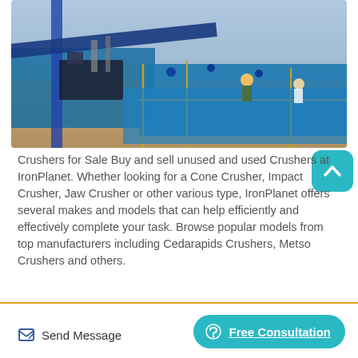[Figure (photo): Aerial view of an industrial construction site with blue-painted equipment, conveyor belts, scaffolding, and workers wearing safety helmets. Heavy machinery and metal structures are visible.]
Crushers for Sale Buy and sell unused and used Crushers at IronPlanet. Whether looking for a Cone Crusher, Impact Crusher, Jaw Crusher or other various type, IronPlanet offers several makes and models that can help efficiently and effectively complete your task. Browse popular models from top manufacturers including Cedarapids Crushers, Metso Crushers and others.
Send Message
Free Consultation